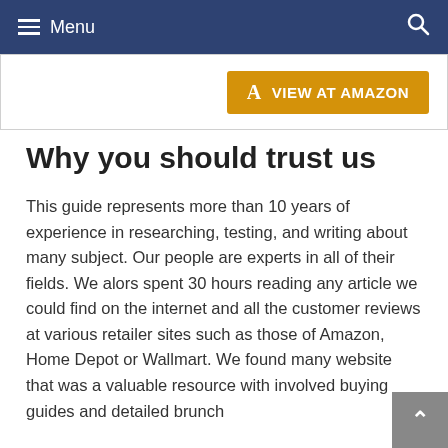Menu
[Figure (other): Orange Amazon button with 'a' logo and text 'VIEW AT AMAZON']
Why you should trust us
This guide represents more than 10 years of experience in researching, testing, and writing about many subject. Our people are experts in all of their fields.
We alors spent 30 hours reading any article we could find on the internet and all the customer reviews at various retailer sites such as those of Amazon, Home Depot or Wallmart. We found many website that was a valuable resource with involved buying guides and detailed brunch